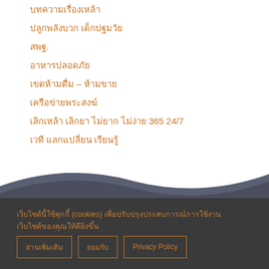บทความเรื่องเหล้า
ปลูกพลังบวก เด็กปฐมวัย
สพฐ.
อาหารปลอดภัย
เขตห้ามดื่ม – ห้ามขาย
เครือข่ายพระสงฆ์
เลิกเหล้า เลิกยา ไม่ยาก ไม่ง่าย 365 24/7
เวที แลกแปลี่ยน เรียนรู้
[Figure (illustration): Wave shape divider between white and dark grey sections]
เว็บไซต์นี้ใช้คุกกี้ (cookies) เพื่อปรับปรุงประสบการณ์การใช้งานเว็บไซต์ของคุณให้ดียิ่งขึ้น
อ่านเพิ่มเติม | ยอมรับ | Privacy Policy